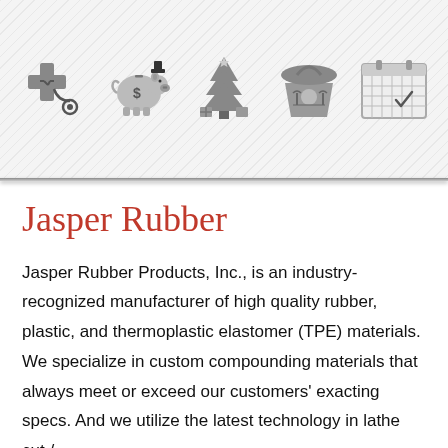[Figure (illustration): Header banner with diagonal stripe pattern containing five grayscale icons: a medical cross with stethoscope, a piggy bank with dollar sign, a Christmas tree with presents, a handbag/tote, and a calendar with checkmark]
Jasper Rubber
Jasper Rubber Products, Inc., is an industry-recognized manufacturer of high quality rubber, plastic, and thermoplastic elastomer (TPE) materials. We specialize in custom compounding materials that always meet or exceed our customers' exacting specs. And we utilize the latest technology in lathe cut /